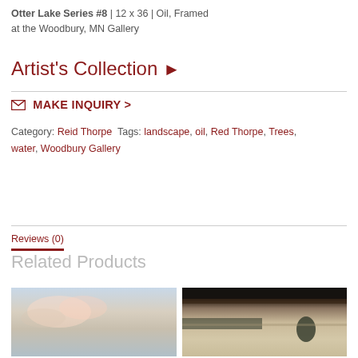Otter Lake Series #8 | 12 x 36 | Oil, Framed at the Woodbury, MN Gallery
Artist's Collection >
✉ MAKE INQUIRY >
Category: Reid Thorpe Tags: landscape, oil, Red Thorpe, Trees, water, Woodbury Gallery
Reviews (0)
Related Products
[Figure (photo): Landscape painting showing a sky with clouds, light blue and pink tones]
[Figure (photo): Landscape painting showing trees on a flat horizon line with dark upper frame]